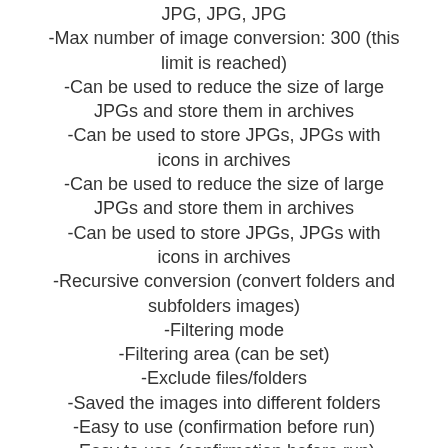JPG, JPG, JPG
-Max number of image conversion: 300 (this limit is reached)
-Can be used to reduce the size of large JPGs and store them in archives
-Can be used to store JPGs, JPGs with icons in archives
-Can be used to reduce the size of large JPGs and store them in archives
-Can be used to store JPGs, JPGs with icons in archives
-Recursive conversion (convert folders and subfolders images)
-Filtering mode
-Filtering area (can be set)
-Exclude files/folders
-Saved the images into different folders
-Easy to use (confirmation before run)
-Easy to use (confirmation before run)
-Supported image types: BMP, JPG, ICO, JPG, JPG, JPG
-Max